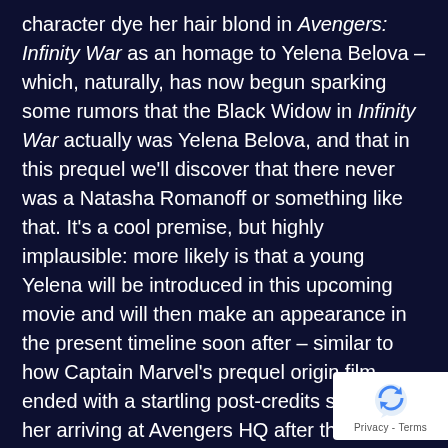character dye her hair blond in Avengers: Infinity War as an homage to Yelena Belova – which, naturally, has now begun sparking some rumors that the Black Widow in Infinity War actually was Yelena Belova, and that in this prequel we'll discover that there never was a Natasha Romanoff or something like that. It's a cool premise, but highly implausible: more likely is that a young Yelena will be introduced in this upcoming movie and will then make an appearance in the present timeline soon after – similar to how Captain Marvel's prequel origin film ended with a startling post-credits scene of her arriving at Avengers HQ after the events of Infinity War.
There's still the slim chance that this movie isn't, in fact, a prequel: why haven't we seen Natasha's classic hairstyle? Why does she seem to be dressed in casual attire in all the behind-the-scenes photos, such as she wore throughout Avengers: Endgame, rather than...
[Figure (logo): reCAPTCHA privacy badge with blue recycling-arrow logo and 'Privacy - Terms' text]